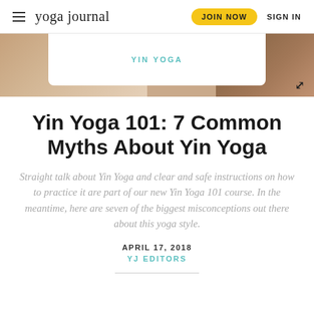yoga journal  JOIN NOW  SIGN IN
[Figure (photo): Blurred background photo strip showing warm tones, with a white rounded overlay panel in the center containing the category label YIN YOGA, and an expand/resize icon at the bottom right.]
YIN YOGA
Yin Yoga 101: 7 Common Myths About Yin Yoga
Straight talk about Yin Yoga and clear and safe instructions on how to practice it are part of our new Yin Yoga 101 course. In the meantime, here are seven of the biggest misconceptions out there about this yoga style.
APRIL 17, 2018
YJ EDITORS